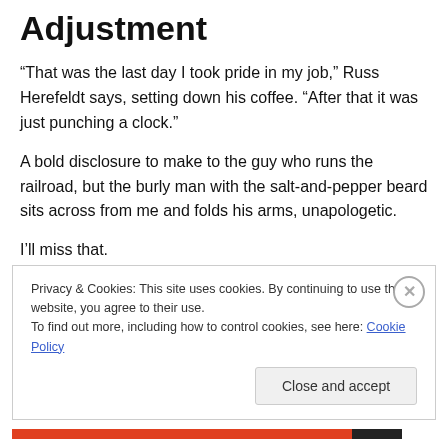Adjustment
“That was the last day I took pride in my job,” Russ Herefeldt says, setting down his coffee. “After that it was just punching a clock.”
A bold disclosure to make to the guy who runs the railroad, but the burly man with the salt-and-pepper beard sits across from me and folds his arms, unapologetic.
I’ll miss that.
He’s retiring after 43 years, and our little breakfast
Privacy & Cookies: This site uses cookies. By continuing to use this website, you agree to their use.
To find out more, including how to control cookies, see here: Cookie Policy
Close and accept